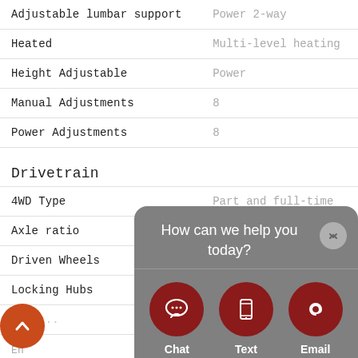| Feature | Value |
| --- | --- |
| Adjustable lumbar support | Power 2-way |
| Heated | Multi-level heating |
| Height Adjustable | Power |
| Manual Adjustments | 8 |
| Power Adjustments | 8 |
| Drivetrain |  |
| 4WD Type | Part and full-time |
| Axle ratio | 3.17 |
| Driven Wheels | All-wheel |
| Locking Hubs | Auto |
| Tran... |  |
| En... |  |
| Co... |  |
| Co... |  |
| Cy... |  |
| Di... |  |
[Figure (infographic): Chat popup overlay with gray background showing 'How can we help you today?' message and three buttons: Chat (speech bubble icon), Text (phone icon), Email (@ icon)]